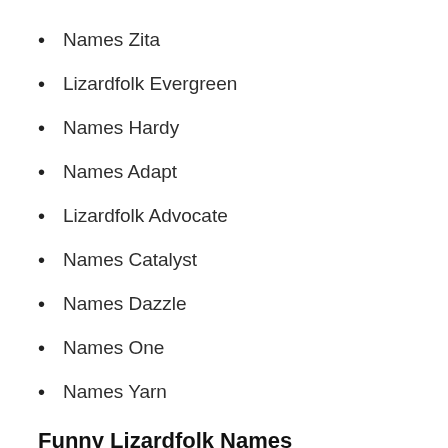Names Zita
Lizardfolk Evergreen
Names Hardy
Names Adapt
Lizardfolk Advocate
Names Catalyst
Names Dazzle
Names One
Names Yarn
Funny Lizardfolk Names
Despite mostly using hard and twisted names, some lizardfolk preferred to rather use the wits in their names. This